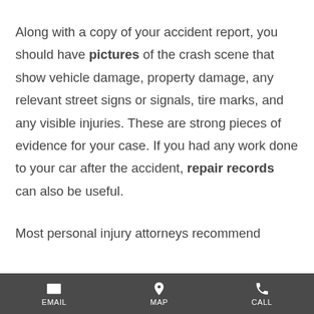Along with a copy of your accident report, you should have pictures of the crash scene that show vehicle damage, property damage, any relevant street signs or signals, tire marks, and any visible injuries. These are strong pieces of evidence for your case. If you had any work done to your car after the accident, repair records can also be useful.

Most personal injury attorneys recommend
EMAIL | MAP | CALL